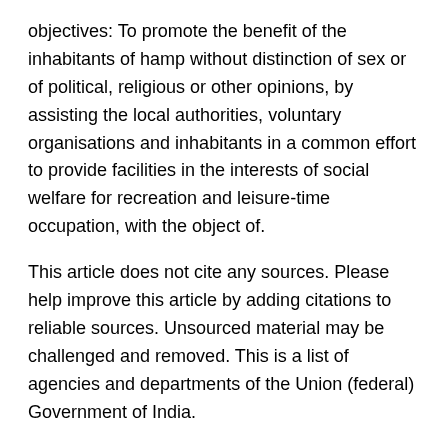objectives: To promote the benefit of the inhabitants of hamp without distinction of sex or of political, religious or other opinions, by assisting the local authorities, voluntary organisations and inhabitants in a common effort to provide facilities in the interests of social welfare for recreation and leisure-time occupation, with the object of.
This article does not cite any sources. Please help improve this article by adding citations to reliable sources. Unsourced material may be challenged and removed. This is a list of agencies and departments of the Union (federal) Government of India.
This list is incomplete; you can help by expanding it. Foundation Scotland appreciate that the Coronavirus situation will have a big impact on communities. We know that charities, local organisations and social enterprises will play a critical support role - providing practical and emotional support, helping to mobilise local.
Following Machinery of Government changes on 1 Februarywe are reviewing this content for transition to our new corporate website. Find out more about our range of funding and investment programs aimed